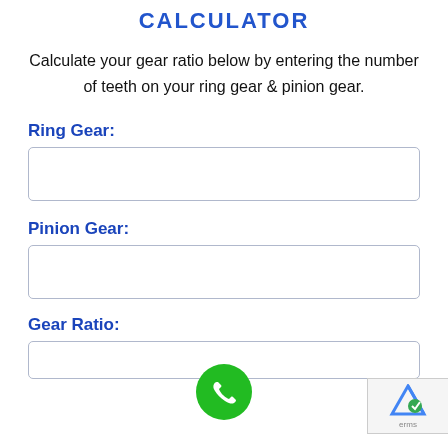CALCULATOR
Calculate your gear ratio below by entering the number of teeth on your ring gear & pinion gear.
Ring Gear:
Pinion Gear:
Gear Ratio: